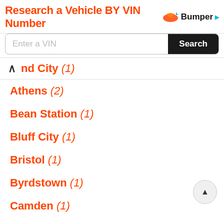[Figure (other): Bumper ad banner: 'Research a Vehicle BY VIN Number' with Bumper logo and search icon]
Enter a VIN [Search button]
▲ nd City (1)
Athens (2)
Bean Station (1)
Bluff City (1)
Bristol (1)
Byrdstown (1)
Camden (1)
Chattanooga (6)
Clarksville (4)
Cleveland (1)